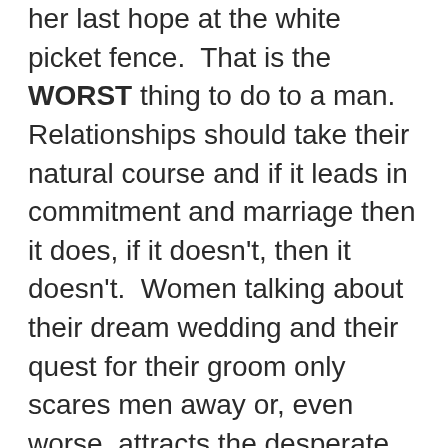her last hope at the white picket fence.  That is the WORST thing to do to a man.  Relationships should take their natural course and if it leads in commitment and marriage then it does, if it doesn't, then it doesn't.  Women talking about their dream wedding and their quest for their groom only scares men away or, even worse, attracts the desperate men.  Two desperate people together? Disaster! Either way it's not good, so don't focus on marriage but focus on the person and focus on the relationship.  That's how you will see who someone REALLY is rather than their potential.  That goes for BOTH women and men.